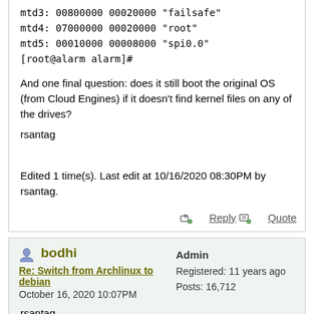mtd3: 00800000 00020000 "failsafe"
mtd4: 07000000 00020000 "root"
mtd5: 00010000 00008000 "spi0.0"
[root@alarm alarm]#
And one final question: does it still boot the original OS (from Cloud Engines) if it doesn't find kernel files on any of the drives?
rsantag
Edited 1 time(s). Last edit at 10/16/2020 08:30PM by rsantag.
Reply | Quote
bodhi
Re: Switch from Archlinux to debian
October 16, 2020 10:07PM
Admin
Registered: 11 years ago
Posts: 16,712
rsantag,